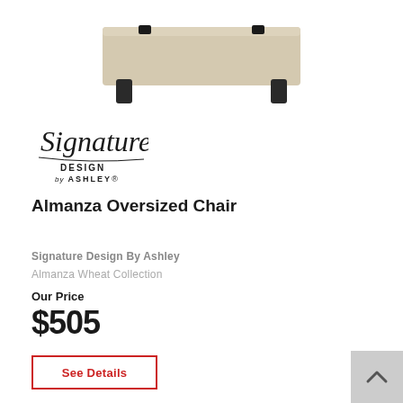[Figure (photo): Almanza Oversized Chair product photo showing a beige/wheat upholstered chair with dark legs, viewed from above at a slight angle, cropped at top of frame]
[Figure (logo): Signature Design by Ashley logo - cursive 'Signature' text above 'DESIGN by ASHLEY' in smaller print]
Almanza Oversized Chair
Signature Design By Ashley
Almanza Wheat Collection
Our Price
$505
See Details